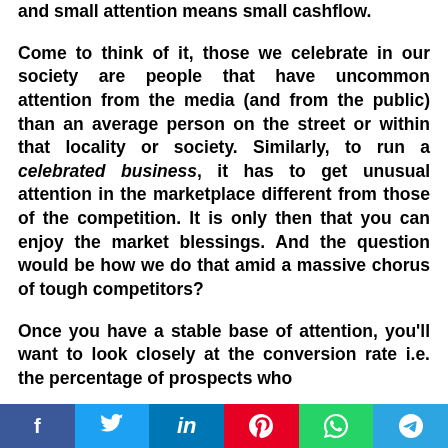and small attention means small cashflow.
Come to think of it, those we celebrate in our society are people that have uncommon attention from the media (and from the public) than an average person on the street or within that locality or society. Similarly, to run a celebrated business, it has to get unusual attention in the marketplace different from those of the competition. It is only then that you can enjoy the market blessings. And the question would be how we do that amid a massive chorus of tough competitors?
Once you have a stable base of attention, you'll want to look closely at the conversion rate i.e. the percentage of prospects who